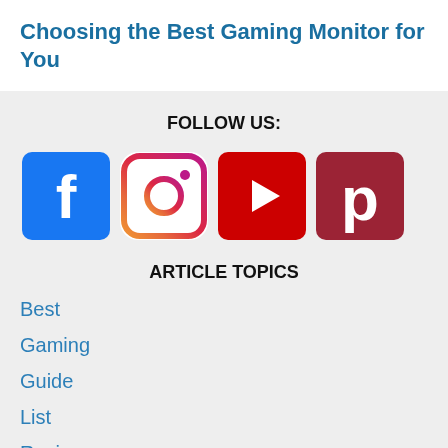Choosing the Best Gaming Monitor for You
FOLLOW US:
[Figure (infographic): Four social media icons in a row: Facebook (blue square with white f), Instagram (purple/pink outlined camera icon), YouTube (red square with white play button), Pinterest (dark red square with white P logo)]
ARTICLE TOPICS
Best
Gaming
Guide
List
Review